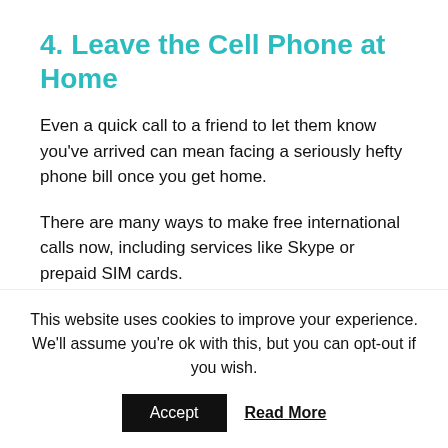4. Leave the Cell Phone at Home
Even a quick call to a friend to let them know you've arrived can mean facing a seriously hefty phone bill once you get home.
There are many ways to make free international calls now, including services like Skype or prepaid SIM cards.
International calling cards are also a good option if
This website uses cookies to improve your experience. We'll assume you're ok with this, but you can opt-out if you wish.